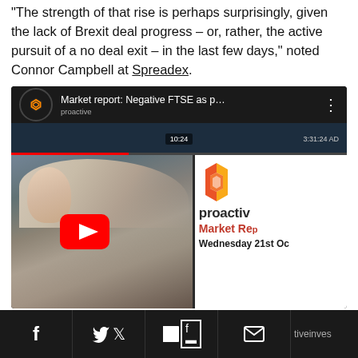"The strength of that rise is perhaps surprisingly, given the lack of Brexit deal progress – or, rather, the active pursuit of a no deal exit – in the last few days," noted Connor Campbell at Spreadex.
[Figure (screenshot): YouTube video thumbnail showing 'Market report: Negative FTSE as p...' from proactive channel, with a female presenter on left and Proactive Market Report branding on right showing Wednesday 21st Oc[tober]]
f  [Twitter]  [Flipboard]  [Email]  tiveinves...